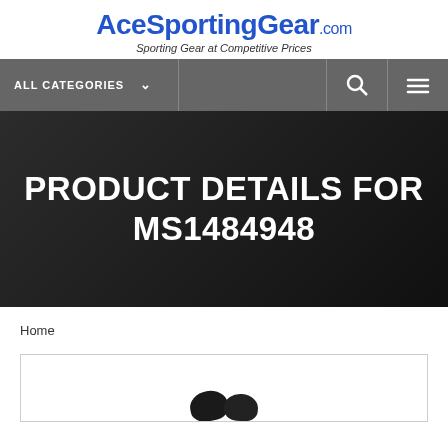AceSportingGear.com — Sporting Gear at Competitive Prices
[Figure (screenshot): Navigation bar with ALL CATEGORIES dropdown, search icon, and menu icon]
PRODUCT DETAILS FOR MS1484948
Home
[Figure (photo): Product image for MS1484948 (partial, showing top portion of product)]